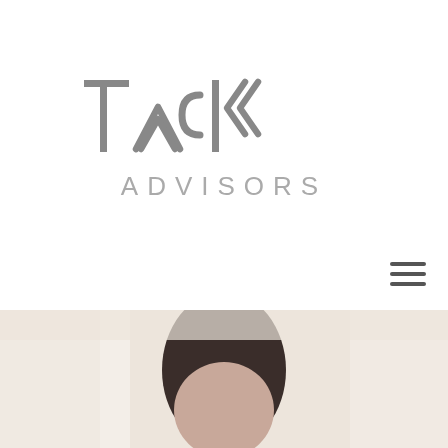[Figure (logo): Tack Advisors logo — stylized 'Tack' with chevron/arrow motifs replacing letters A and K, followed by 'ADVISORS' in light grey spaced lettering below]
[Figure (other): Hamburger menu icon — three horizontal dark grey bars stacked vertically, positioned at top right]
[Figure (photo): Partial photo of a person with dark hair visible from top of head, lightly faded/washed out background in warm beige tones]